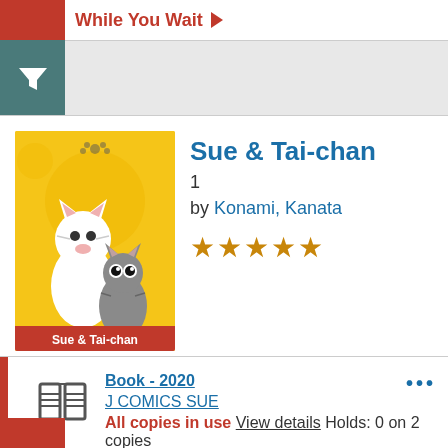While You Wait
[Figure (illustration): Book cover of Sue & Tai-chan volume 1 - yellow background with two cats, one white and one gray tabby]
Sue & Tai-chan
1
by Konami, Kanata
★★★★★ (5 stars)
Book - 2020
J COMICS SUE
All copies in use View details
Holds: 0 on 2 copies
Place hold
For Later